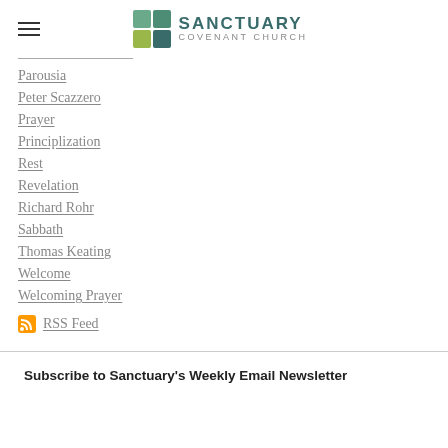Sanctuary Covenant Church
Parousia
Peter Scazzero
Prayer
Principlization
Rest
Revelation
Richard Rohr
Sabbath
Thomas Keating
Welcome
Welcoming Prayer
RSS Feed
Subscribe to Sanctuary's Weekly Email Newsletter